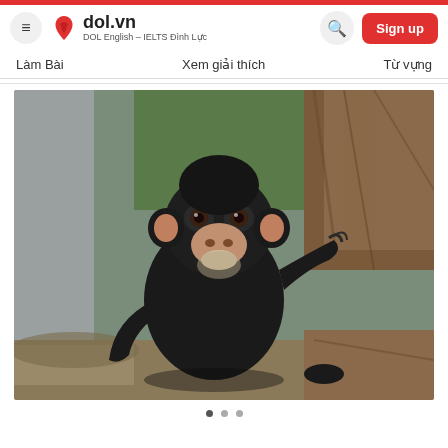dol.vn — DOL English – IELTS Đình Lực
Làm Bài   Xem giải thích   Từ vựng
[Figure (photo): A baby chimpanzee sitting among logs and tree roots, looking at the camera, with green foliage blurred in background.]
• • •